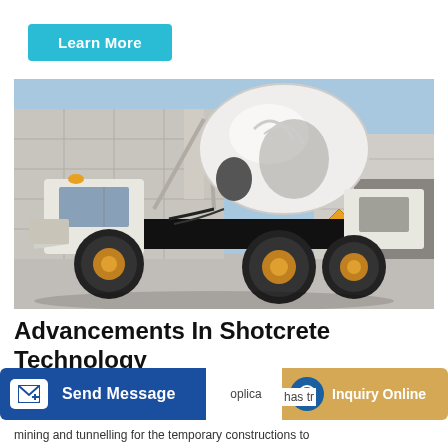Learn More
[Figure (photo): A white self-loading concrete mixer truck with yellow wheels parked in front of a large industrial warehouse building. The mixer drum is raised at an angle. Blue sky visible in background.]
Advancements In Shotcrete Technology
Send Message
Inquiry Online
mining and tunnelling for the temporary constructions to